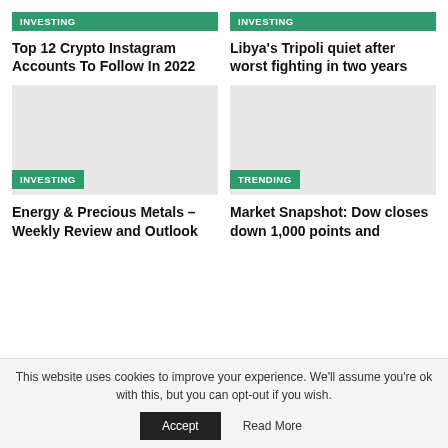INVESTING
Top 12 Crypto Instagram Accounts To Follow In 2022
INVESTING
Libya's Tripoli quiet after worst fighting in two years
[Figure (photo): Placeholder image for Energy & Precious Metals article]
INVESTING
Energy & Precious Metals – Weekly Review and Outlook
[Figure (photo): Placeholder image for Market Snapshot article]
TRENDING
Market Snapshot: Dow closes down 1,000 points and
This website uses cookies to improve your experience. We'll assume you're ok with this, but you can opt-out if you wish.